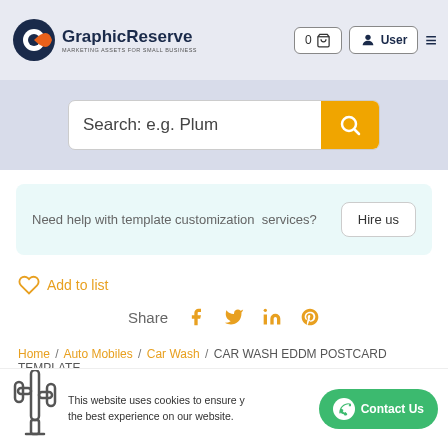GraphicReserve — MARKETING ASSETS FOR SMALL BUSINESS
Search: e.g. Plum
Need help with template customization services? Hire us
Add to list
Share
Home / Auto Mobiles / Car Wash / CAR WASH EDDM POSTCARD TEMPLATE
This website uses cookies to ensure you the best experience on our website. Contact Us